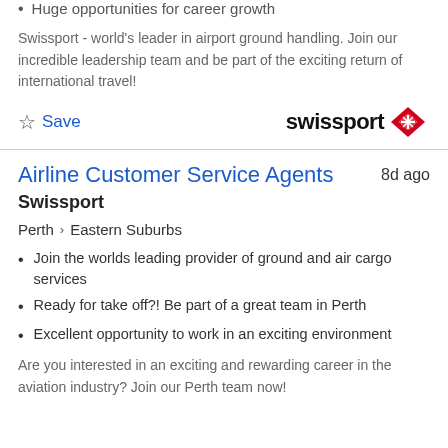Huge opportunities for career growth
Swissport - world's leader in airport ground handling. Join our incredible leadership team and be part of the exciting return of international travel!
[Figure (logo): Swissport logo with red diamond shape]
Airline Customer Service Agents
8d ago
Swissport
Perth > Eastern Suburbs
Join the worlds leading provider of ground and air cargo services
Ready for take off?! Be part of a great team in Perth
Excellent opportunity to work in an exciting environment
Are you interested in an exciting and rewarding career in the aviation industry? Join our Perth team now!